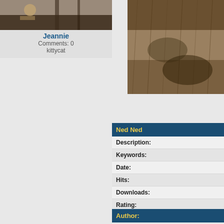[Figure (photo): Thumbnail photo showing soil/dirt with a shovel or tool, partial cat visible, outdoor scene]
Jeannie
Comments: 0
kittycat
[Figure (photo): Close-up photo of brown/tan fur texture, animal fur detail]
| Ned Ned |
| --- |
| Description: |
| Keywords: |
| Date: |
| Hits: |
| Downloads: |
| Rating: |
| File size: |
| Added by: |
| Author: |
| --- |